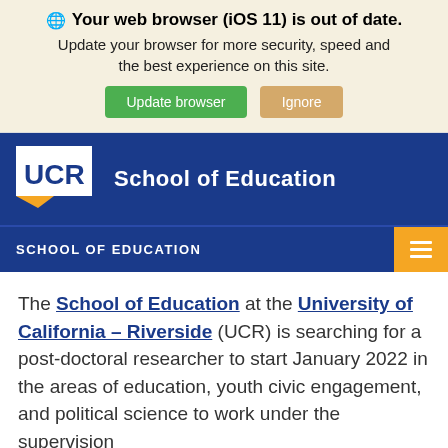🌐 Your web browser (iOS 11) is out of date. Update your browser for more security, speed and the best experience on this site.
[Figure (screenshot): UCR School of Education website header with browser update banner, UCR logo, navigation bar, and partial page content about a post-doctoral researcher position]
SCHOOL OF EDUCATION
The School of Education at the University of California – Riverside (UCR) is searching for a post-doctoral researcher to start January 2022 in the areas of education, youth civic engagement, and political science to work under the supervision
This website uses cookies to ensure you get the best experience on our website
Got it!